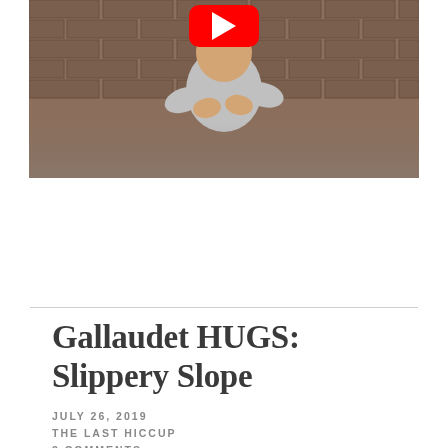[Figure (screenshot): Screenshot of a video thumbnail showing a man in a gray t-shirt with hands on chest, standing in front of a brick wall background, with a YouTube play button logo partially visible at the top]
Gallaudet HUGS: Slippery Slope
JULY 26, 2019
THE LAST HICCUP
3 COMMENTS
What is slippery slope and what does it have to do